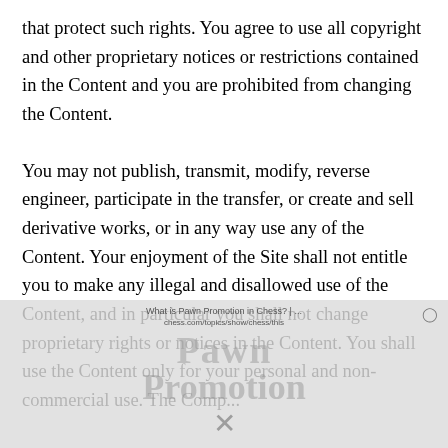that protect such rights. You agree to use all copyright and other proprietary notices or restrictions contained in the Content and you are prohibited from changing the Content.
You may not publish, transmit, modify, reverse engineer, participate in the transfer, or create and sell derivative works, or in any way use any of the Content. Your enjoyment of the Site shall not entitle you to make any illegal and disallowed use of the Content, and in particular you shall not change proprietary rights or notices in the Content. You shall use the Content only for your personal and non-commercial use. The Comp...